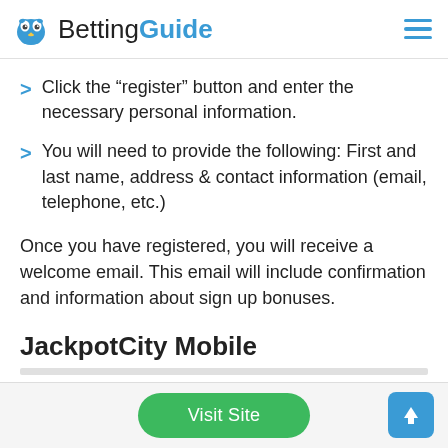BettingGuide
Click the “register” button and enter the necessary personal information.
You will need to provide the following: First and last name, address & contact information (email, telephone, etc.)
Once you have registered, you will receive a welcome email. This email will include confirmation and information about sign up bonuses.
JackpotCity Mobile